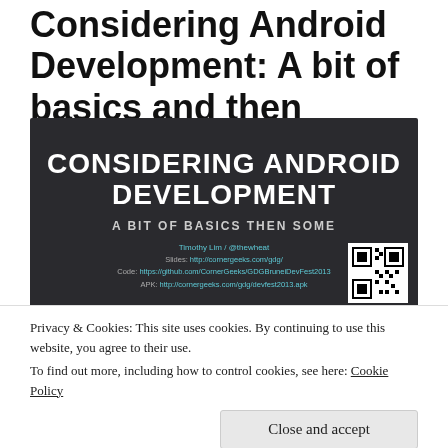Considering Android Development: A bit of basics and then some
[Figure (screenshot): Slide image with dark background showing 'CONSIDERING ANDROID DEVELOPMENT' in large white bold text, subtitle 'A BIT OF BASICS THEN SOME', author Timothy Lim / @thewheat, links to slides and code on cornergeeks.com and github, and a QR code in bottom right corner.]
Privacy & Cookies: This site uses cookies. By continuing to use this website, you agree to their use.
To find out more, including how to control cookies, see here: Cookie Policy
Close and accept
and I aimed for the content to be basic and accessible